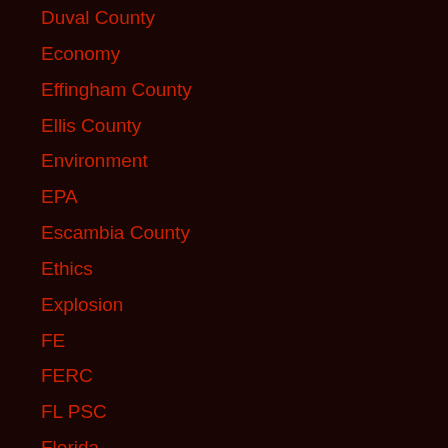Duval County
Economy
Effingham County
Ellis County
Environment
EPA
Escambia County
Ethics
Explosion
FE
FERC
FL PSC
Florida
Fracking
Franklin County